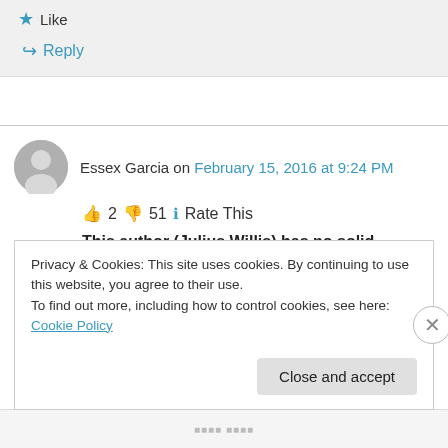★ Like
↪ Reply
Essex Garcia on February 15, 2016 at 9:24 PM
👍 2 👎 51 ℹ Rate This
This author (Julius Willis) has no solid evidence
Privacy & Cookies: This site uses cookies. By continuing to use this website, you agree to their use.
To find out more, including how to control cookies, see here: Cookie Policy
Close and accept